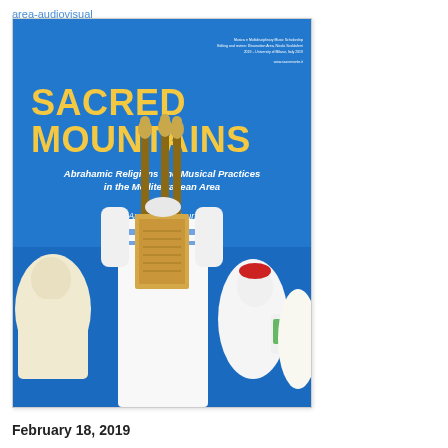area-audiovisual
[Figure (photo): Book cover for 'Sacred Mountains: Abrahamic Religions and Musical Practices in the Mediterranean Area. An Audiovisual Journey by Nicola Scaldaferri'. Blue background with yellow title text, white subtitle text, and a photograph of robed figures holding a Torah scroll aloft against a blue sky.]
February 18, 2019